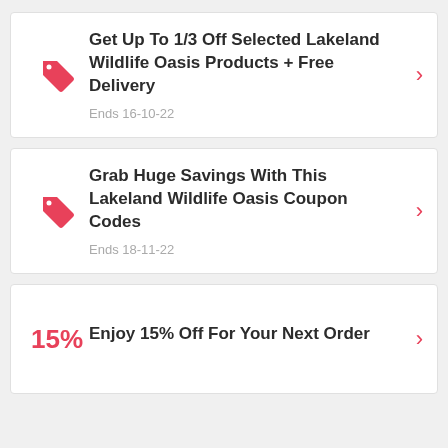Get Up To 1/3 Off Selected Lakeland Wildlife Oasis Products + Free Delivery
Ends 16-10-22
Grab Huge Savings With This Lakeland Wildlife Oasis Coupon Codes
Ends 18-11-22
Enjoy 15% Off For Your Next Order